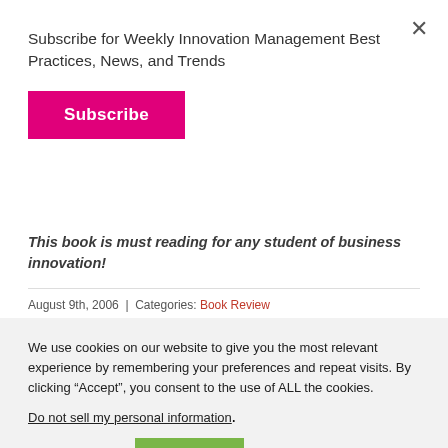Subscribe for Weekly Innovation Management Best Practices, News, and Trends
Subscribe
This book is must reading for any student of business innovation!
August 9th, 2006 | Categories: Book Review
We use cookies on our website to give you the most relevant experience by remembering your preferences and repeat visits. By clicking “Accept”, you consent to the use of ALL the cookies.
Do not sell my personal information.
Cookie settings
ACCEPT